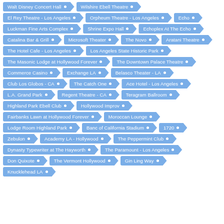Walt Disney Concert Hall
Wilshire Ebell Theatre
El Rey Theatre - Los Angeles
Orpheum Theatre - Los Angeles
Echo
Luckman Fine Arts Complex
Shrine Expo Hall
Echoplex At The Echo
Catalina Bar & Grill
Microsoft Theater
The Novo
Aratani Theatre
The Hotel Cafe - Los Angeles
Los Angeles State Historic Park
The Masonic Lodge at Hollywood Forever
The Downtown Palace Theatre
Commerce Casino
Exchange LA
Belasco Theater - LA
Club Los Globos - CA
The Catch One
Ace Hotel - Los Angeles
L.A. Grand Park
Regent Theatre - CA
Teragram Ballroom
Highland Park Ebell Club
Hollywood Improv
Fairbanks Lawn at Hollywood Forever
Moroccan Lounge
Lodge Room Highland Park
Banc of California Stadium
1720
Zebulon
Academy LA - Hollywood
The Peppermint Club
Dynasty Typewriter at The Hayworth
The Paramount - Los Angeles
Don Quixote
The Vermont Hollywood
Gin Ling Way
Knucklehead LA